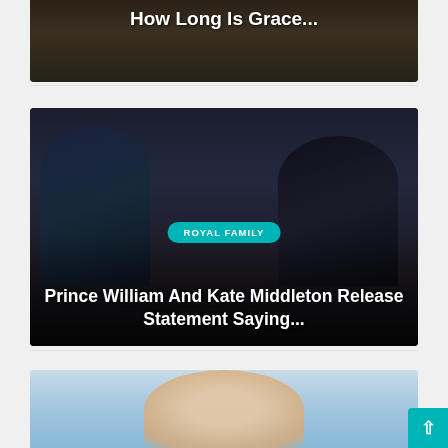[Figure (photo): Partially visible image card at top, dark background with text overlay reading 'How Long Is Grace...']
How Long Is Grace...
[Figure (photo): Image card showing Prince William and Kate Middleton at a podium event, dark background with teal 'ROYAL FAMILY' badge and white title text]
ROYAL FAMILY
Prince William And Kate Middleton Release Statement Saying...
[Figure (photo): Partial image card at bottom showing a blonde woman's face against a light blue sky background]
[Figure (other): Teal scroll-to-top button with upward arrow in bottom right corner]